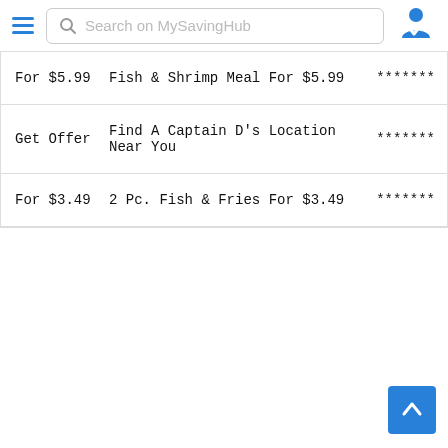Search on MySavingHub
For $5.99   Fish & Shrimp Meal For $5.99   *******
Get Offer   Find A Captain D's Location Near You   *******
For $3.49   2 Pc. Fish & Fries For $3.49   *******